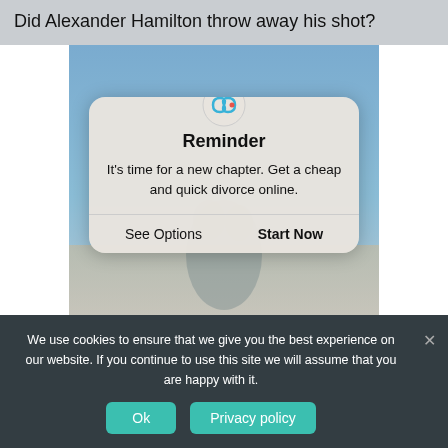Did Alexander Hamilton throw away his shot?
[Figure (screenshot): Screenshot of a webpage with a sky/outdoors background image overlaid by a reminder popup dialog. The popup has a blue infinity/loop icon at the top, a bold 'Reminder' heading, body text 'It's time for a new chapter. Get a cheap and quick divorce online.', a horizontal divider, and two action buttons: 'See Options' and 'Start Now'.]
We use cookies to ensure that we give you the best experience on our website. If you continue to use this site we will assume that you are happy with it.